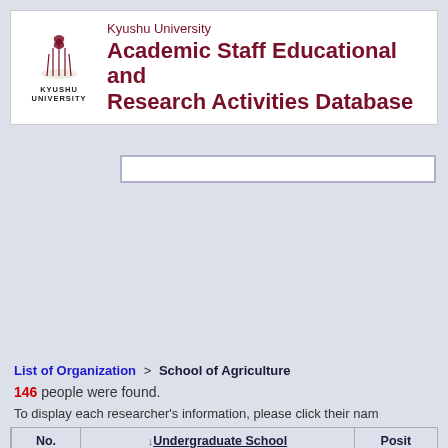Kyushu University Academic Staff Educational and Research Activities Database
List of Organization > School of Agriculture
146 people were found.
To display each researcher's information, please click their name.
| No. | ↓Undergraduate School | Posit |
| --- | --- | --- |